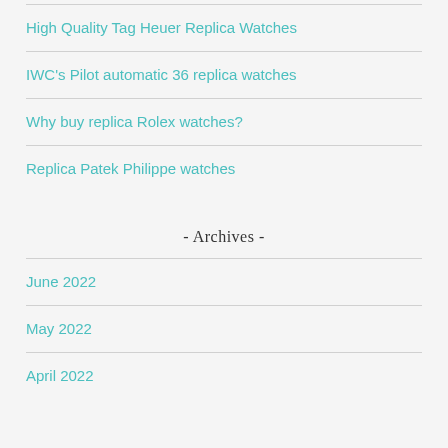High Quality Tag Heuer Replica Watches
IWC's Pilot automatic 36 replica watches
Why buy replica Rolex watches?
Replica Patek Philippe watches
- Archives -
June 2022
May 2022
April 2022